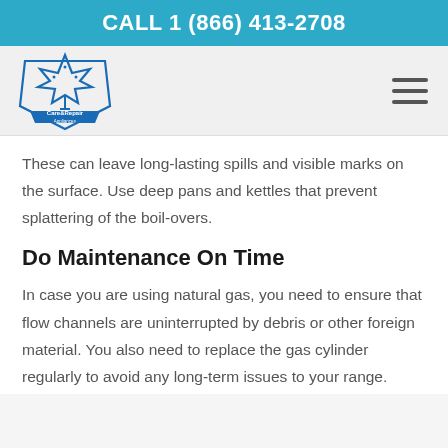CALL 1 (866) 413-2708
[Figure (logo): Care & Repair Appliances logo with maple leaf]
These can leave long-lasting spills and visible marks on the surface. Use deep pans and kettles that prevent splattering of the boil-overs.
Do Maintenance On Time
In case you are using natural gas, you need to ensure that flow channels are uninterrupted by debris or other foreign material. You also need to replace the gas cylinder regularly to avoid any long-term issues to your range.